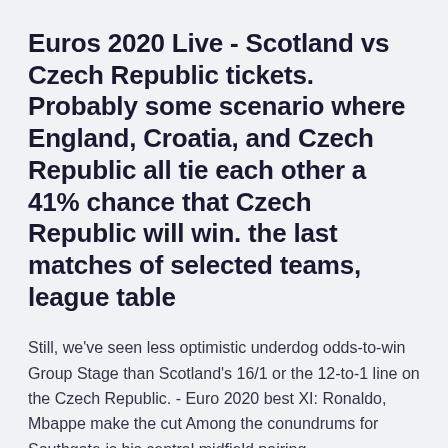Euros 2020 Live - Scotland vs Czech Republic tickets. Probably some scenario where England, Croatia, and Czech Republic all tie each other a 41% chance that Czech Republic will win. the last matches of selected teams, league table
Still, we've seen less optimistic underdog odds-to-win Group Stage than Scotland's 16/1 or the 12-to-1 line on the Czech Republic. - Euro 2020 best XI: Ronaldo, Mbappe make the cut Among the conundrums for Southgate is his central midfield pairing.